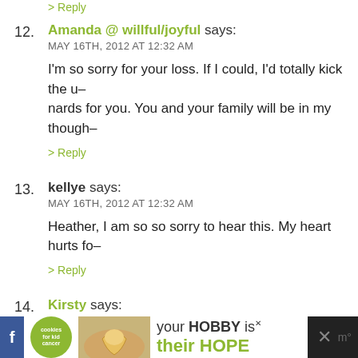> Reply
12. Amanda @ willful/joyful says:
MAY 16TH, 2012 AT 12:32 AM
I'm so sorry for your loss. If I could, I'd totally kick the u— nards for you. You and your family will be in my though—
> Reply
13. kellye says:
MAY 16TH, 2012 AT 12:32 AM
Heather, I am so so sorry to hear this. My heart hurts fo—
> Reply
14. Kirsty says:
MAY 16TH, 2012 AT 12:36 AM
Some thing in life do not make any sense. Ever. xx
> Reply
[Figure (infographic): Ad banner for cookies for kid's cancer: 'your HOBBY is their HOPE' with green/white color scheme, cookie logo, hands holding heart cookie image, close button, social media icons]